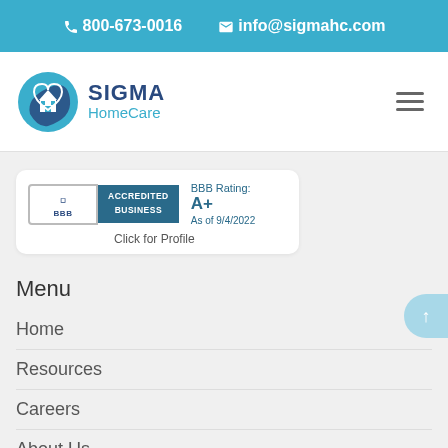800-673-0016   info@sigmahc.com
[Figure (logo): SIGMA HomeCare logo with teal/blue heart and house icon, company name SIGMA HomeCare]
[Figure (other): BBB Accredited Business badge, BBB Rating: A+ As of 9/4/2022, Click for Profile]
Menu
Home
Resources
Careers
About Us
Contact Us
Service Areas